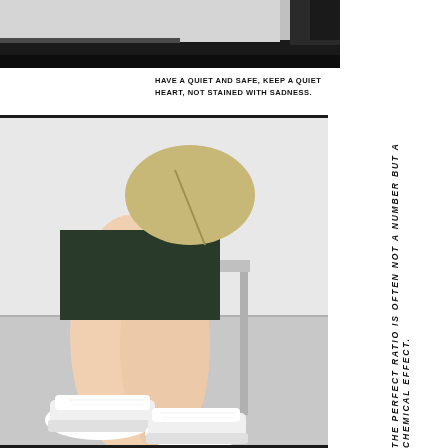[Figure (photo): Top portion of a fashion photo showing dark clothing and accessories against a light background]
HAVE A QUIET AND SAFE, KEEP A QUIET HEART, NOT STAINED WITH SADNESS.
[Figure (photo): Fashion photo of a person sitting on a stool wearing a dark skirt, carrying a beige backpack, wearing white platform sneakers with laces, legs visible from thigh down]
THE PERFECT RATIO IS OFTEN NOT A NUMBER BUT A CHEMICAL EFFECT.